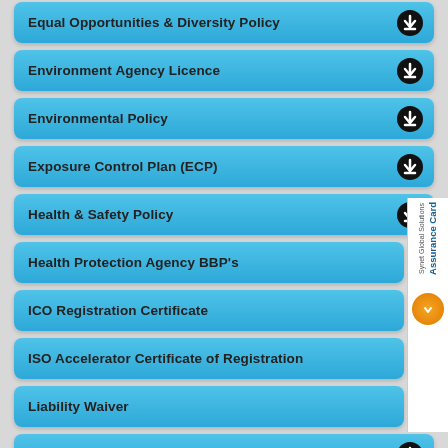Equal Opportunities & Diversity Policy
Environment Agency Licence
Environmental Policy
Exposure Control Plan (ECP)
Health & Safety Policy
Health Protection Agency BBP's
ICO Registration Certificate
ISO Accelerator Certificate of Registration
Liability Waiver
Main Equipment Overview
Total Trauma Cleaning Presentation
Company Testimonials